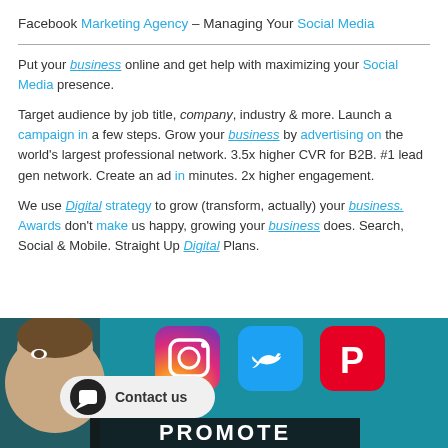Facebook Marketing Agency – Managing Your Social Media
Put your business online and get help with maximizing your Social Media presence.
Target audience by job title, company, industry & more. Launch a campaign in a few steps. Grow your business by advertising on the world's largest professional network. 3.5x higher CVR for B2B. #1 lead gen network. Create an ad in minutes. 2x higher engagement.
We use Digital strategy to grow (transform, actually) your business. Awards don't make us happy, growing your business does. Search, Social & Mobile. Straight Up Digital Plans.
[Figure (photo): Promotional banner showing a man's face on the left, social media icons (Instagram, Twitter, Pinterest) on a teal background, with a 'Contact us' chat bubble button and the word PROMOTE in bold white text at the bottom.]